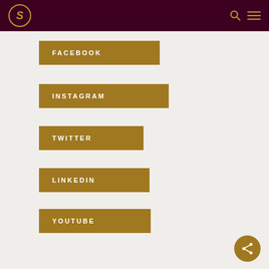S (logo) | search | menu
FACEBOOK
INSTAGRAM
TWITTER
LINKEDIN
YOUTUBE